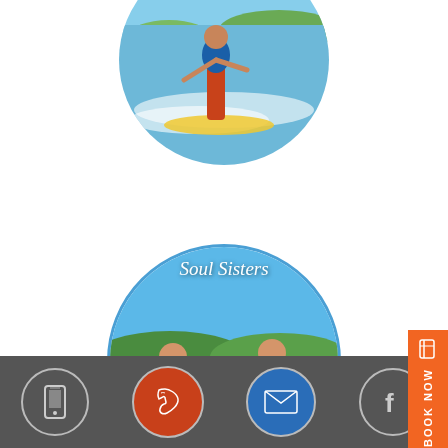[Figure (photo): Circular cropped photo of a surfer riding a wave at the beach, partially visible at top of page]
[Figure (photo): Circular photo labeled 'Soul Sisters' showing two girls holding hands splashing in shallow beach water, one in green shirt one in red]
[Figure (photo): Circular photo labeled 'Corporate Events' partially visible at bottom, showing beach/ocean background]
BOOK NOW
Footer bar with icons: mobile phone, phone, email/envelope, Facebook